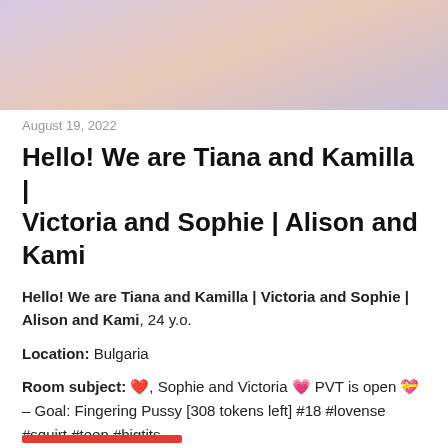[Figure (photo): Cropped photo of two people, partially visible, with a purple/lavender background]
August 19, 2022
Hello! We are Tiana and Kamilla | Victoria and Sophie | Alison and Kami
Hello! We are Tiana and Kamilla | Victoria and Sophie | Alison and Kami, 24 y.o.
Location: Bulgaria
Room subject: ❤️, Sophie and Victoria 💗 PVT is open 💝 – Goal: Fingering Pussy [308 tokens left] #18 #lovense #squirt #teen #bigtits